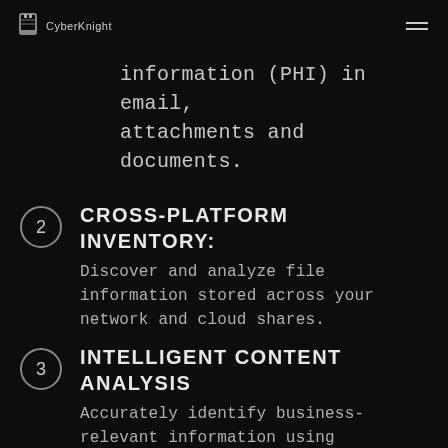CyberKnight
information (PHI) in email, attachments and documents.
CROSS-PLATFORM INVENTORY:
Discover and analyze file information stored across your network and cloud shares.
INTELLIGENT CONTENT ANALYSIS
Accurately identify business-relevant information using machine learning capabilities.